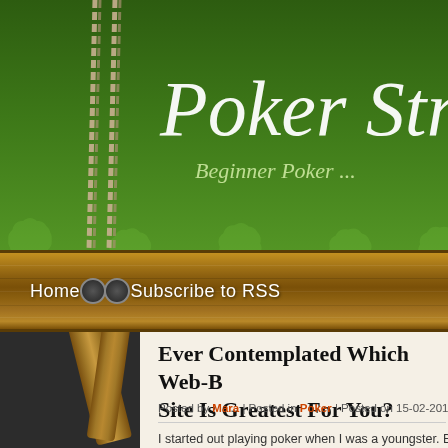[Figure (screenshot): Green gradient website header background with decorative leaf/floral pattern overlay and rope/easel elements]
Poker Str
Beginner Poker ...
Home  -  Subscribe to RSS
Ever Contemplated Which Web-B... Site Is Greatest For You?
Posted by Mara | Posted in Poker | Posted on 15-02-2011
I started out playing poker when I was a youngster. Back then it wa...